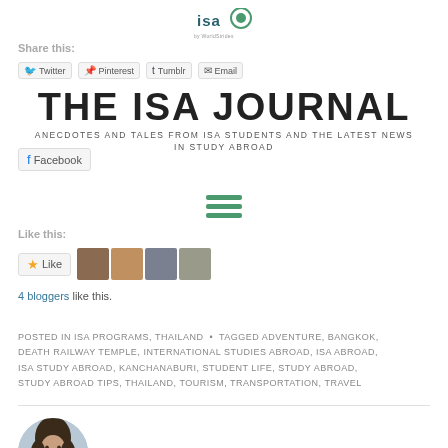[Figure (logo): ISA by WorldStrides logo at top center]
Share this:
Twitter  Pinterest  Tumblr  Email
THE ISA JOURNAL
ANECDOTES AND TALES FROM ISA STUDENTS AND THE LATEST NEWS IN STUDY ABROAD
Facebook
[Figure (other): Hamburger menu icon (three horizontal green lines)]
Like this:
Like  [avatar images]
4 bloggers like this.
POSTED IN ISA PROGRAMS, THAILAND  •  TAGGED ADVENTURE, BANGKOK, DEATH RAILWAY TEMPLE, INTERNATIONAL STUDIES ABROAD, ISA ABROAD, ISA STUDY ABROAD, KANCHANABURI, STUDENT LIFE, STUDY ABROAD, STUDY ABROAD TIPS, THAILAND, TOURISM, TRANSPORTATION, TRAVEL
[Figure (photo): Portrait photo of a person with long dark hair, smiling, bottom left]